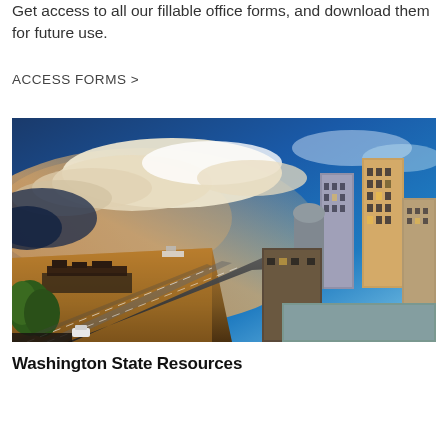Get access to all our fillable office forms, and download them for future use.
ACCESS FORMS >
[Figure (photo): Aerial/elevated view of Seattle waterfront and downtown skyline at sunset/dusk, showing highway, piers, Puget Sound water, and city skyscrapers under a dramatic blue sky with golden clouds.]
Washington State Resources